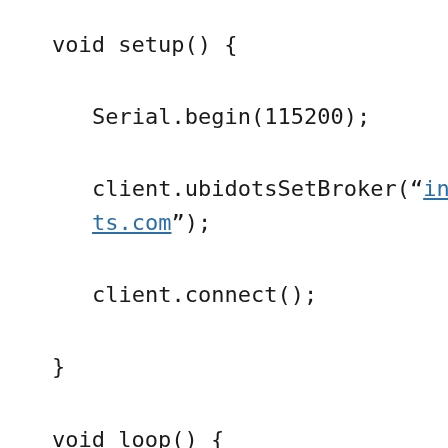void setup() {
Serial.begin(115200);
client.ubidotsSetBroker("industrial.api.ubidots.com");
client.connect();
}
void loop() {
if(!client.isConnected()){
client.connect();